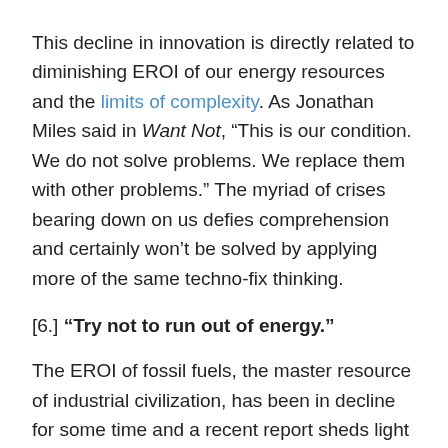This decline in innovation is directly related to diminishing EROI of our energy resources and the limits of complexity. As Jonathan Miles said in Want Not, “This is our condition. We do not solve problems. We replace them with other problems.” The myriad of crises bearing down on us defies comprehension and certainly won’t be solved by applying more of the same techno-fix thinking.
[6.] “Try not to run out of energy.”
The EROI of fossil fuels, the master resource of industrial civilization, has been in decline for some time and a recent report sheds light on this:
A new peer-reviewed study led by the Institute of Physics at the National Autonomous University of Mexico has undertaken a comparative review of the